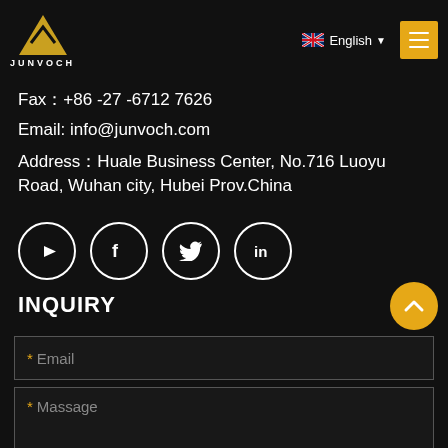JUNVOCH — English [menu]
Fax：+86 -27 -6712 7626
Email: info@junvoch.com
Address：Huale Business Center, No.716 Luoyu Road, Wuhan city, Hubei Prov.China
[Figure (other): Social media icons row: YouTube, Facebook, Twitter, LinkedIn — each in a white circle outline]
INQUIRY
* Email
* Massage